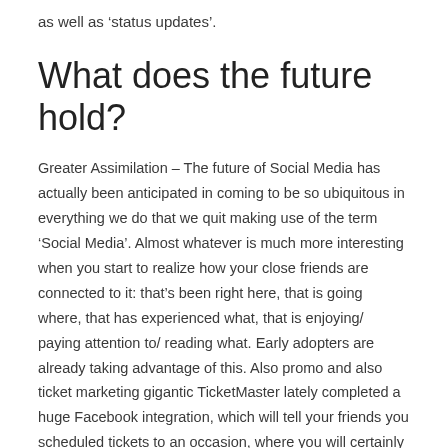as well as ‘status updates’.
What does the future hold?
Greater Assimilation – The future of Social Media has actually been anticipated in coming to be so ubiquitous in everything we do that we quit making use of the term ‘Social Media’. Almost whatever is much more interesting when you start to realize how your close friends are connected to it: that’s been right here, that is going where, that has experienced what, that is enjoying/ paying attention to/ reading what. Early adopters are already taking advantage of this. Also promo and also ticket marketing gigantic TicketMaster lately completed a huge Facebook integration, which will tell your friends you scheduled tickets to an occasion, where you will certainly be sitting, and also if any one of your good friends are going as well as where they will certainly be sitting. An additional example lies in the app Foursquare (more preferred in the United States) which makes it possible for individuals to locate